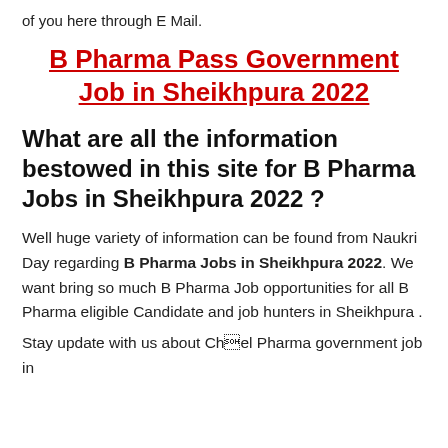of you here through E Mail.
B Pharma Pass Government Job in Sheikhpura 2022
What are all the information bestowed in this site for B Pharma Jobs in Sheikhpura 2022 ?
Well huge variety of information can be found from Naukri Day regarding B Pharma Jobs in Sheikhpura 2022. We want bring so much B Pharma Job opportunities for all B Pharma eligible Candidate and job hunters in Sheikhpura .
Stay update with us about Chief Pharma government job in